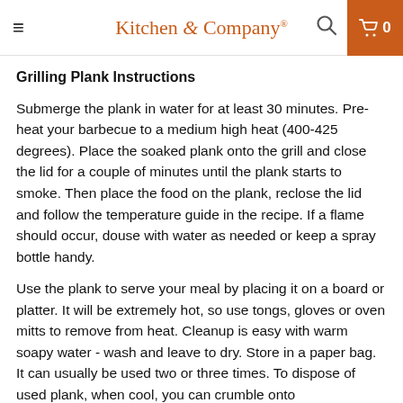Kitchen & Company
Grilling Plank Instructions
Submerge the plank in water for at least 30 minutes. Pre-heat your barbecue to a medium high heat (400-425 degrees). Place the soaked plank onto the grill and close the lid for a couple of minutes until the plank starts to smoke. Then place the food on the plank, reclose the lid and follow the temperature guide in the recipe. If a flame should occur, douse with water as needed or keep a spray bottle handy.
Use the plank to serve your meal by placing it on a board or platter. It will be extremely hot, so use tongs, gloves or oven mitts to remove from heat. Cleanup is easy with warm soapy water - wash and leave to dry. Store in a paper bag. It can usually be used two or three times. To dispose of used plank, when cool, you can crumble onto